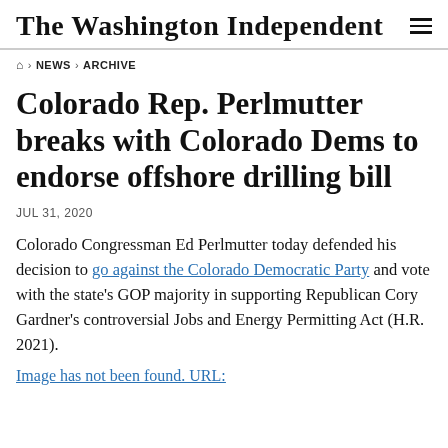The Washington Independent
🏠 › NEWS › ARCHIVE
Colorado Rep. Perlmutter breaks with Colorado Dems to endorse offshore drilling bill
JUL 31, 2020
Colorado Congressman Ed Perlmutter today defended his decision to go against the Colorado Democratic Party and vote with the state's GOP majority in supporting Republican Cory Gardner's controversial Jobs and Energy Permitting Act (H.R. 2021).
Image has not been found. URL: